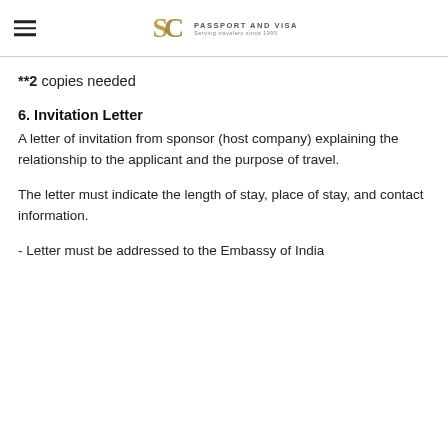SC PASSPORT AND VISA — Serving travelers since 1995
**2 copies needed
6. Invitation Letter
A letter of invitation from sponsor (host company) explaining the relationship to the applicant and the purpose of travel.
The letter must indicate the length of stay, place of stay, and contact information.
- Letter must be addressed to the Embassy of India